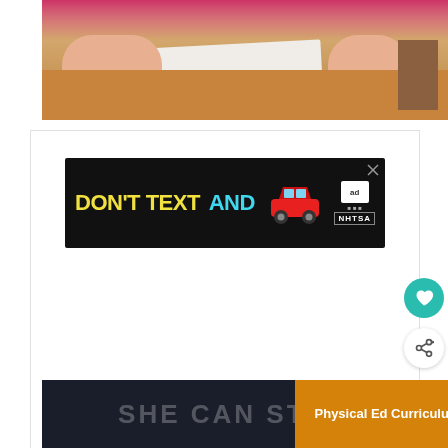[Figure (photo): Close-up photo of a child's hands writing in an open notebook on a desk, with a yellow highlighter and stack of books nearby, wearing a pink top]
[Figure (infographic): NHTSA advertisement banner with black background showing 'DON'T TEXT AND' with a red cartoon car, ad choices logo, and NHTSA branding]
[Figure (infographic): What's Next panel showing thumbnail image and text 'Free Printable Books for...']
[Figure (photo): Dark panel with partially visible large text 'SHE CAN STE...' on dark background]
Physical Ed Curriculum